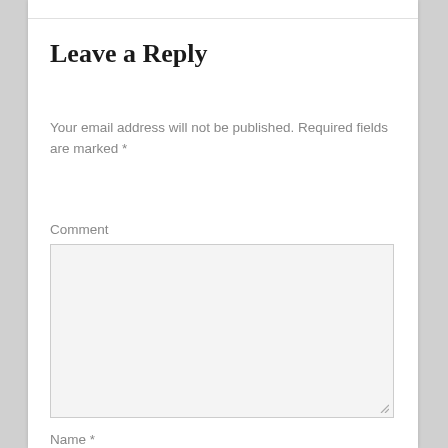Leave a Reply
Your email address will not be published. Required fields are marked *
Comment
[Figure (other): Empty comment textarea input field with light gray background and resize handle]
Name *